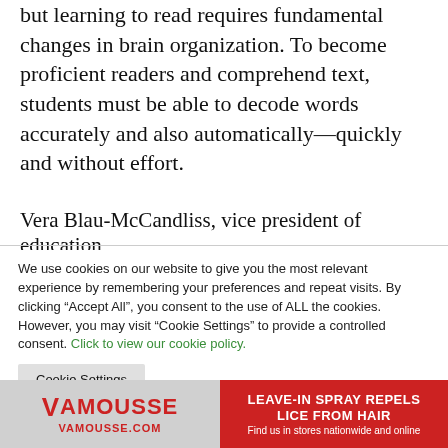but learning to read requires fundamental changes in brain organization. To become proficient readers and comprehend text, students must be able to decode words accurately and also automatically—quickly and without effort.
Vera Blau-McCandliss, vice president of education
We use cookies on our website to give you the most relevant experience by remembering your preferences and repeat visits. By clicking “Accept All”, you consent to the use of ALL the cookies. However, you may visit “Cookie Settings” to provide a controlled consent. Click to view our cookie policy.
Cookie Settings
Accept All
[Figure (infographic): Advertisement banner for Vamousse lice repellent spray. Left side shows Vamousse logo on grey background with VAMOUSSE.COM url. Right side has red background with white bold text: LEAVE-IN SPRAY REPELS LICE FROM HAIR. Subtext: Find us in stores nationwide and online.]